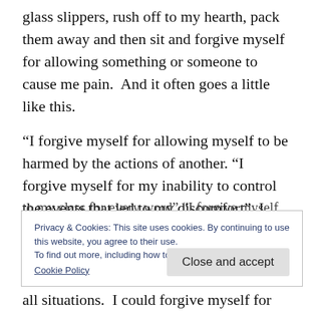glass slippers, rush off to my hearth, pack them away and then sit and forgive myself for allowing something or someone to cause me pain.  And it often goes a little like this.
“I forgive myself for allowing myself to be harmed by the actions of another. “I forgive myself for my inability to control the events that led to my discomfort”. I forgive myself for being misguided” “I forgive myself for giving
Privacy & Cookies: This site uses cookies. By continuing to use this website, you agree to their use.
To find out more, including how to control cookies, see here:
Cookie Policy
Close and accept
all situations.  I could forgive myself for